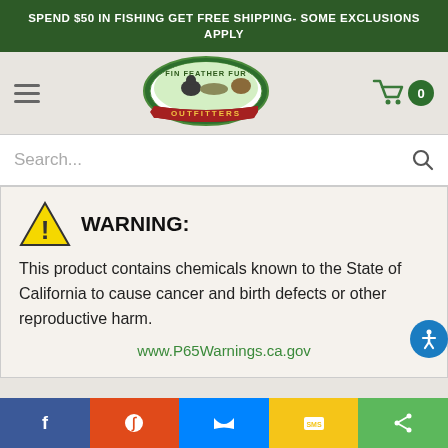SPEND $50 IN FISHING GET FREE SHIPPING- SOME EXCLUSIONS APPLY
[Figure (logo): Fin Feather Fur Outfitters logo — circular emblem with animals and banner text]
Search...
WARNING: This product contains chemicals known to the State of California to cause cancer and birth defects or other reproductive harm. www.P65Warnings.ca.gov